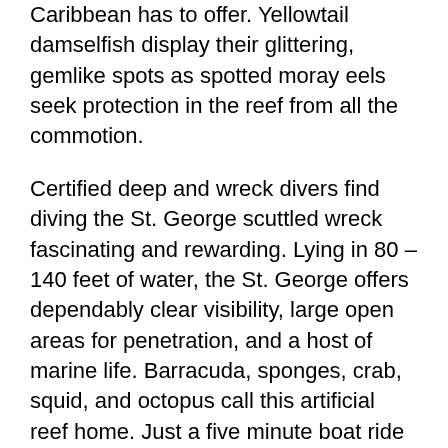Caribbean has to offer. Yellowtail damselfish display their glittering, gemlike spots as spotted moray eels seek protection in the reef from all the commotion.
Certified deep and wreck divers find diving the St. George scuttled wreck fascinating and rewarding. Lying in 80 – 140 feet of water, the St. George offers dependably clear visibility, large open areas for penetration, and a host of marine life. Barracuda, sponges, crab, squid, and octopus call this artificial reef home. Just a five minute boat ride from Bayahibe, the St. George makes for an incredibly adventurous night diving excursion, as colors and creatures generally indistinguishable by day come to life at night.
Particularly courageous and experienced divers find Shark Point, off the coast of Saona where the Atlantic and Caribbean meet, a favorite spot for wall and reef